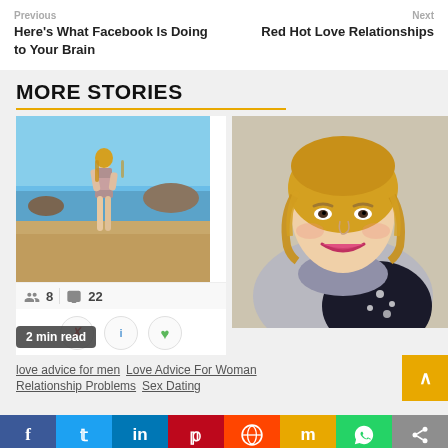Previous
Here's What Facebook Is Doing to Your Brain
Next
Red Hot Love Relationships
MORE STORIES
[Figure (photo): Woman in bikini standing on beach]
[Figure (photo): Smiling blonde woman]
2 min read
love advice for men   Love Advice For Woman   Relationship Problems   Sex Dating